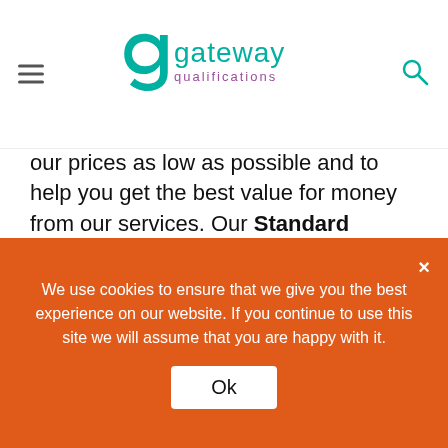[Figure (logo): Gateway Qualifications logo with teal 'g' icon and text 'gateway qualifications' in teal/purple]
our prices as low as possible and to help you get the best value for money from our services. Our Standard Qualification Fee, which is chargeable upon registering your learners, helps to make it clear what the mandatory fees will be for a single learner being registered and certificated on a qualification and completing all assessments at the first attempt*. These fees have increased slightly for 2022/23 to cover
We use cookies to ensure that we give you the best experience on our website. If you continue to use this site we will assume that you are happy with it.
Ok